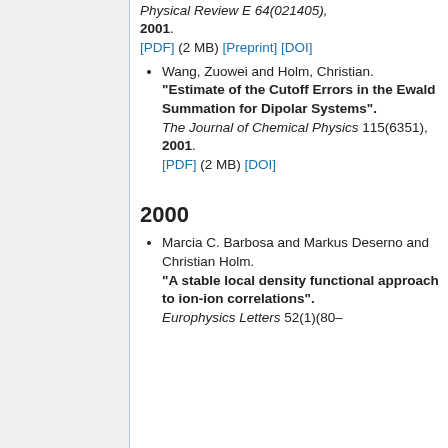Physical Review E 64(021405), 2001. [PDF] (2 MB) [Preprint] [DOI]
Wang, Zuowei and Holm, Christian. "Estimate of the Cutoff Errors in the Ewald Summation for Dipolar Systems". The Journal of Chemical Physics 115(6351), 2001. [PDF] (2 MB) [DOI]
2000
Marcia C. Barbosa and Markus Deserno and Christian Holm. "A stable local density functional approach to ion-ion correlations". Europhysics Letters 52(1)(80–